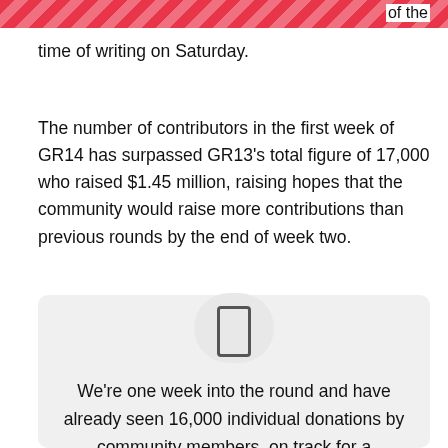of the time of writing on Saturday.
The number of contributors in the first week of GR14 has surpassed GR13’s total figure of 17,000 who raised $1.45 million, raising hopes that the community would raise more contributions than previous rounds by the end of week two.
We’re one week into the round and have already seen 16,000 individual donations by community members, on track for a successful round amidst